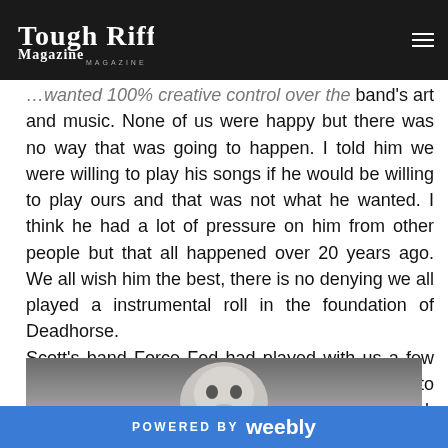Tough Riffs Magazine
...wanted 100% creative control over the band's art and music. None of us were happy but there was no way that was going to happen. I told him we were willing to play his songs if he would be willing to play ours and that was not what he wanted. I think he had a lot of pressure on him from other people but that all happened over 20 years ago. We all wish him the best, there is no denying we all played a instrumental roll in the foundation of Deadhorse. Scott's band Force Fed had played with us a few times. And he played loud enough for Ronny to hear him. He was the only person we auditioned. Once Greg said he was the man there was no looking back.
[Figure (photo): Black and white photo of a person looking upward, close-up face shot]
POWERED BY weebly